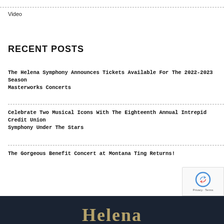Video
RECENT POSTS
The Helena Symphony Announces Tickets Available For The 2022-2023 Season Masterworks Concerts
Celebrate Two Musical Icons With The Eighteenth Annual Intrepid Credit Union Symphony Under The Stars
The Gorgeous Benefit Concert at Montana Ting Returns!
Helena